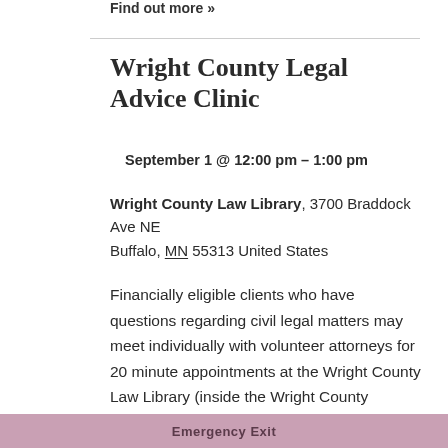Find out more »
Wright County Legal Advice Clinic
September 1 @ 12:00 pm - 1:00 pm
Wright County Law Library, 3700 Braddock Ave NE
Buffalo, MN 55313 United States
Financially eligible clients who have questions regarding civil legal matters may meet individually with volunteer attorneys for 20 minute appointments at the Wright County Law Library (inside the Wright County Government Center). In order to be eligible, the client's household income must be at or below 125% of the federal poverty...
Emergency Exit